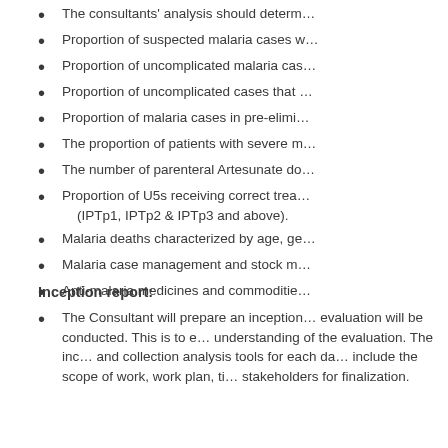The consultants' analysis should determ…
Proportion of suspected malaria cases w…
Proportion of uncomplicated malaria cas…
Proportion of uncomplicated cases that …
Proportion of malaria cases in pre-elimi…
The proportion of patients with severe m…
The number of parenteral Artesunate do…
Proportion of U5s receiving correct trea… (IPTp1, IPTp2 & IPTp3 and above).
Malaria deaths characterized by age, ge…
Malaria case management and stock m…
Anti-malaria medicines and commoditie…
Inception report:
The Consultant will prepare an inception… evaluation will be conducted. This is to e… understanding of the evaluation. The inc… and collection analysis tools for each da… include the scope of work, work plan, ti… stakeholders for finalization.